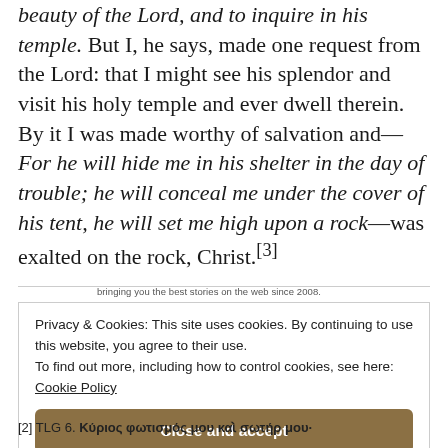beauty of the Lord, and to inquire in his temple. But I, he says, made one request from the Lord: that I might see his splendor and visit his holy temple and ever dwell therein. By it I was made worthy of salvation and—For he will hide me in his shelter in the day of trouble; he will conceal me under the cover of his tent, he will set me high upon a rock—was exalted on the rock, Christ.[3]
bringing you the best stories on the web since 2008.
Privacy & Cookies: This site uses cookies. By continuing to use this website, you agree to their use. To find out more, including how to control cookies, see here: Cookie Policy
Close and accept
[2] TLG 6. Κύριος φωτισμός μου καὶ σωτήρ μου·